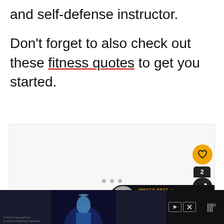and self-defense instructor.
Don't forget to also check out these fitness quotes to get you started.
[Figure (screenshot): A media player / slideshow area with social share buttons (heart and share icons), a 'What's Next' banner showing Albert Schweitzer, and navigation dots]
[Figure (screenshot): Bottom advertisement bar showing a Pixar/Disney Lightyear movie ad with close and skip controls]